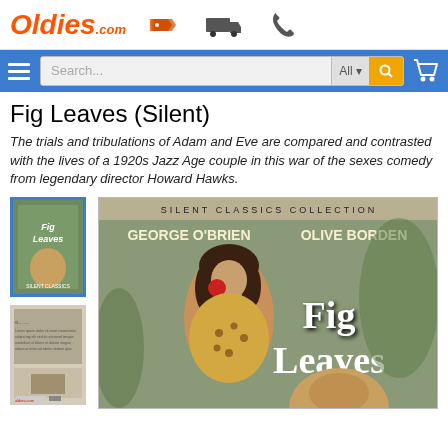[Figure (logo): Oldies.com logo in orange italic text with tag, truck, and phone icons in header]
[Figure (screenshot): Blue navigation bar with hamburger menu, search box with All dropdown, orange search button, and cart icon]
Fig Leaves (Silent)
The trials and tribulations of Adam and Eve are compared and contrasted with the lives of a 1920s Jazz Age couple in this war of the sexes comedy from legendary director Howard Hawks.
[Figure (photo): Thumbnail of Fig Leaves DVD cover front with blue border selected]
[Figure (photo): Thumbnail of Fig Leaves DVD back cover]
[Figure (photo): Main large image of Fig Leaves DVD cover showing Silent Classics Collection, George O'Brien and Olive Borden, woman in leopard print biting apple, Fig Leaves title text]